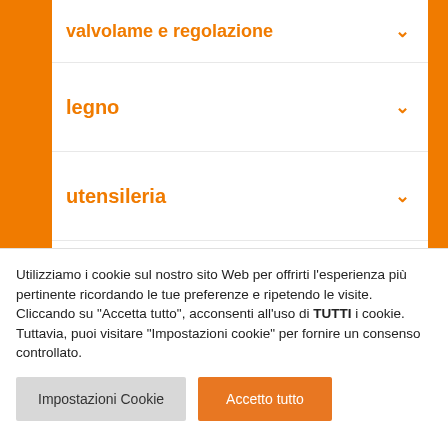valvolame e regolazione
legno
utensileria
vernici e colle
Filtra prodotti
Utilizziamo i cookie sul nostro sito Web per offrirti l'esperienza più pertinente ricordando le tue preferenze e ripetendo le visite. Cliccando su "Accetta tutto", acconsenti all'uso di TUTTI i cookie. Tuttavia, puoi visitare "Impostazioni cookie" per fornire un consenso controllato.
Impostazioni Cookie | Accetto tutto